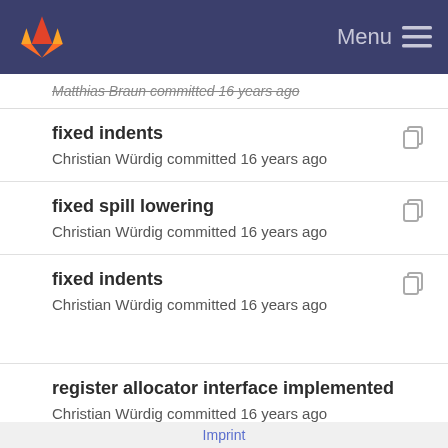Menu
Matthias Braun committed 16 years ago
fixed indents
Christian Würdig committed 16 years ago
fixed spill lowering
Christian Würdig committed 16 years ago
fixed indents
Christian Würdig committed 16 years ago
register allocator interface implemented
Christian Würdig committed 16 years ago
Implement all the state switching stuff needed fo
Imprint